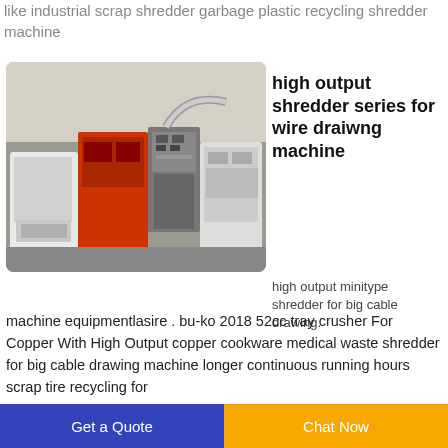like industrial scrap shredder garbage plastic recycling shredder machine
[Figure (photo): Industrial shredder machine equipment with multiple components including a white machine unit, red machinery, and a grey control panel in a warehouse setting]
high output shredder series for wire draiwng machine
high output minitype shredder for big cable drawing. machine equipmentlasire . bu-ko 2018 52cc tray crusher For Copper With High Output copper cookware medical waste shredder for big cable drawing machine longer continuous running hours scrap tire recycling for
Get a Quote
Chat Now